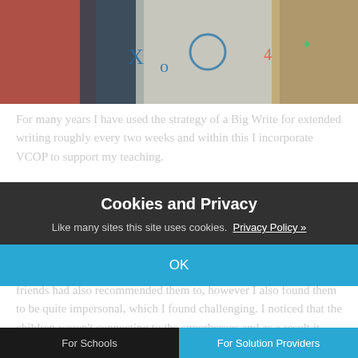[Figure (photo): Colorful children's artwork with drawings, paint, and crayon marks on paper]
For many years I have used the strategy of a Big Write for extended writing roughly every two weeks and within this I incorporate VCOP to support my teaching.
Initially I spent a long time searching for visual aids to support these four concepts and I found some bright and vibrant
Cookies and Privacy
Like many sites this site uses cookies.  Privacy Policy »
OK
friends had also recommended them to, however I also found them to be quite impersonal, which I found challenging. I noticed that the children weren't connecting to the superheroes and as a result it didn't flow as I felt it should. I
For Schools    For Solution Providers